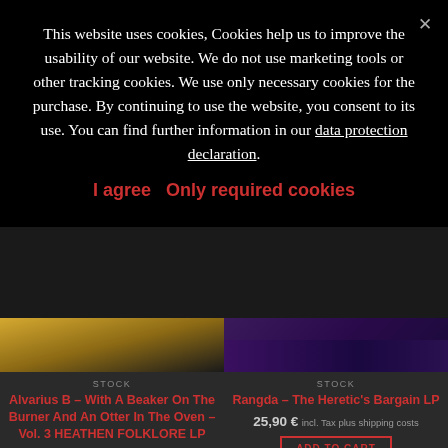This website uses cookies, Cookies help us to improve the usability of our website. We do not use marketing tools or other tracking cookies. We use only necessary cookies for the purchase. By continuing to use the website, you consent to its use. You can find further information in our data protection declaration.
I agree  Only required cookies
STOCK
Alvarius B – With A Beaker On The Burner And An Otter In The Oven – Vol. 3 HEATHEN FOLKLORE LP
24,90 € incl. Tax plus shipping costs
ADD TO CART
STOCK
Rangda – The Heretic's Bargain LP
25,90 € incl. Tax plus shipping costs
ADD TO CART